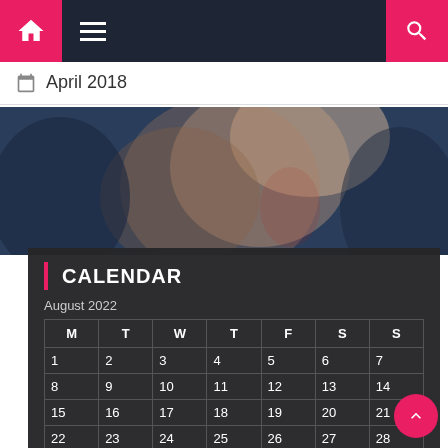Navigation bar with home icon, menu icon, and search icon
April 2018
[Figure (photo): Two people dancing or embracing against a dark blue background]
CALENDAR
August 2022
| M | T | W | T | F | S | S |
| --- | --- | --- | --- | --- | --- | --- |
| 1 | 2 | 3 | 4 | 5 | 6 | 7 |
| 8 | 9 | 10 | 11 | 12 | 13 | 14 |
| 15 | 16 | 17 | 18 | 19 | 20 | 21 |
| 22 | 23 | 24 | 25 | 26 | 27 | 28 |